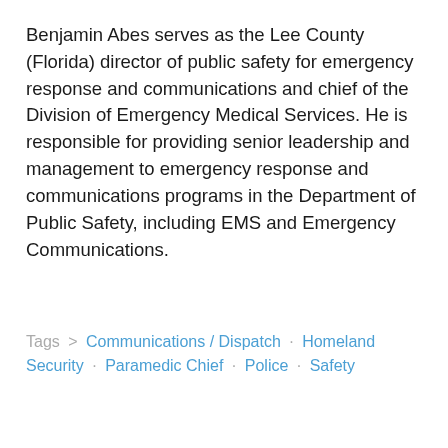Benjamin Abes serves as the Lee County (Florida) director of public safety for emergency response and communications and chief of the Division of Emergency Medical Services. He is responsible for providing senior leadership and management to emergency response and communications programs in the Department of Public Safety, including EMS and Emergency Communications.
Tags > Communications / Dispatch · Homeland Security · Paramedic Chief · Police · Safety